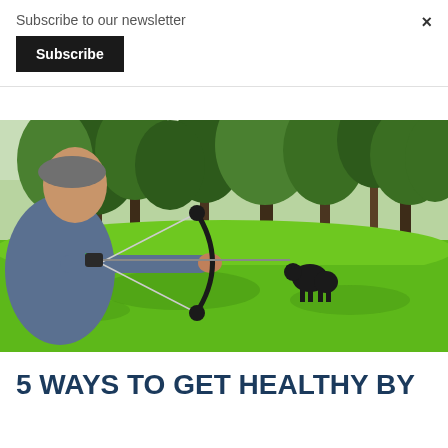Subscribe to our newsletter
Subscribe
×
[Figure (photo): Man aiming a compound bow at a black bear target in a green, tree-lined yard]
5 WAYS TO GET HEALTHY BY